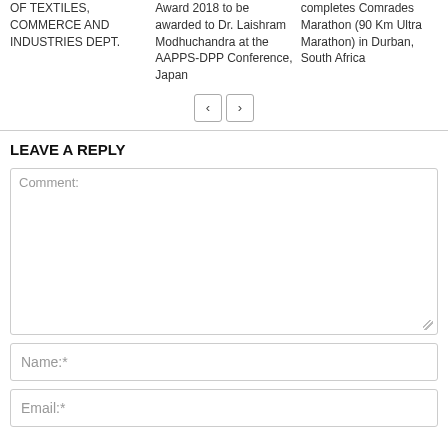OF TEXTILES, COMMERCE AND INDUSTRIES DEPT.
Award 2018 to be awarded to Dr. Laishram Modhuchandra at the AAPPS-DPP Conference, Japan
completes Comrades Marathon (90 Km Ultra Marathon) in Durban, South Africa
< >
LEAVE A REPLY
Comment:
Name:*
Email:*